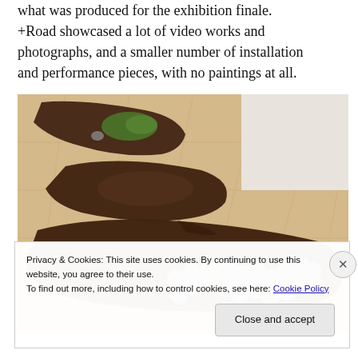what was produced for the exhibition finale. +Road showcased a lot of video works and photographs, and a smaller number of installation and performance pieces, with no paintings at all.
[Figure (photo): Gallery installation photo showing elongated organic-shaped earth/dark soil forms arranged on a light tiled floor. The forms contain various elements including green moss/plants, dark soil, and clusters of round spotted/mottled spherical objects (mushroom-like or stone-like). The perspective is from above-left looking diagonally across the gallery floor.]
Privacy & Cookies: This site uses cookies. By continuing to use this website, you agree to their use.
To find out more, including how to control cookies, see here: Cookie Policy
Close and accept